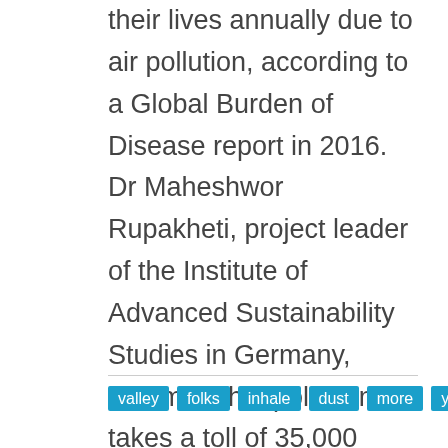their lives annually due to air pollution, according to a Global Burden of Disease report in 2016. Dr Maheshwor Rupakheti, project leader of the Institute of Advanced Sustainability Studies in Germany, informed that pollution takes a toll of 35,000 Nepali lives every year. "The number of people dying from pollution has increased by 3,000 every year," he claimed. "Worldwide, seven million people lose their lives due to pollution each year."
valley
folks
inhale
dust
more
years